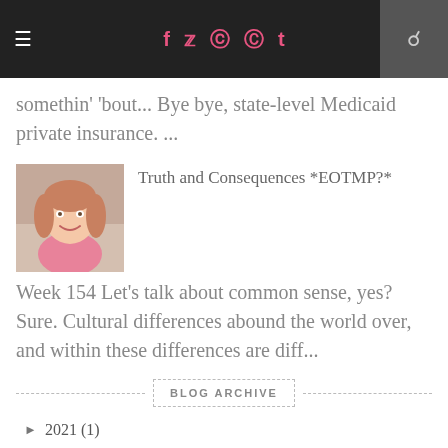≡  f  🐦  📷  pinterest  t  🔍
somethin' 'bout... Bye bye, state-level Medicaid private insurance. ...
[Figure (photo): Thumbnail photo of a young woman with reddish-blonde hair, smiling, wearing a pink top.]
Truth and Consequences *EOTMP?*
Week 154 Let's talk about common sense, yes? Sure. Cultural differences abound the world over, and within these differences are diff...
BLOG ARCHIVE
► 2021 (1)